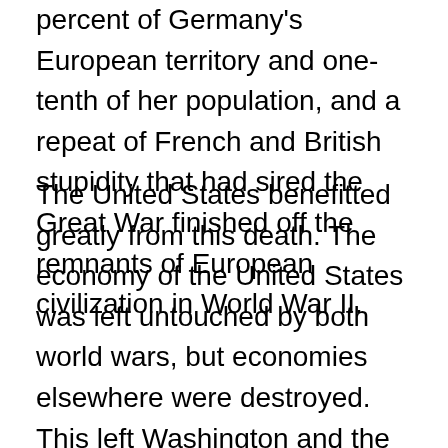percent of Germany's European territory and one-tenth of her population, and a repeat of French and British stupidity that had sired the Great War finished off the remnants of European civilization in World War II.
The United States benefitted greatly from this death. The economy of the United States was left untouched by both world wars, but economies elsewhere were destroyed. This left Washington and the New York banks the arbiters of the world economy. The US dollar replaced British sterling as the world reserve currency and became the foundation of US domination in the second half of the 20th century, a domination limited in its reach only by the Soviet Union.
The Soviet collapse in 1991 removed this constraint from Washington. The result was a burst of American arrogance and hubris that wiped away in over-reach the leadership